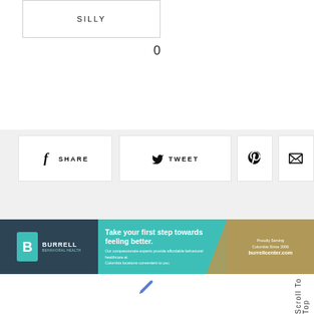SILLY
0
[Figure (infographic): Social sharing buttons: Facebook SHARE, Twitter TWEET, Pinterest icon, Email icon]
[Figure (infographic): Burrell Behavioral Health advertisement banner: Take your first step towards feeling better. Our compassionate experts provide affordable behavioral healthcare at Columbia locations convenient to you. Proudly Serving Columbia Since 2006 burrellcenter.com]
Scroll To Top